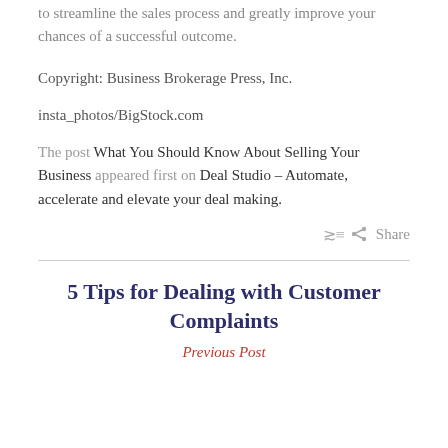to streamline the sales process and greatly improve your chances of a successful outcome.
Copyright: Business Brokerage Press, Inc.
insta_photos/BigStock.com
The post What You Should Know About Selling Your Business appeared first on Deal Studio – Automate, accelerate and elevate your deal making.
Share
5 Tips for Dealing with Customer Complaints
Previous Post